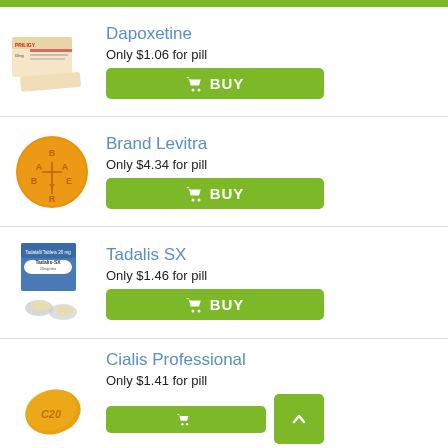[Figure (photo): Green bar at top of page]
Dapoxetine
Only $1.06 for pill
[Figure (photo): BUY button with shopping cart icon]
[Figure (photo): Priligy medication box photo]
Brand Levitra
Only $4.34 for pill
[Figure (photo): BUY button with shopping cart icon]
[Figure (photo): Bayer round orange pill photo]
Tadalis SX
Only $1.46 for pill
[Figure (photo): BUY button with shopping cart icon]
[Figure (photo): Tadalis SX medication box and blister pack photo]
Cialis Professional
Only $1.41 for pill
[Figure (photo): Scroll/navigation button (green square with arrow)]
[Figure (photo): Yellow teardrop-shaped Cialis C20 pill photo]